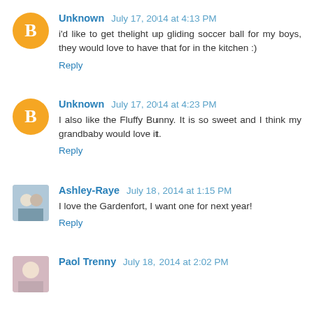Unknown July 17, 2014 at 4:13 PM
i'd like to get thelight up gliding soccer ball for my boys, they would love to have that for in the kitchen :)
Reply
Unknown July 17, 2014 at 4:23 PM
I also like the Fluffy Bunny. It is so sweet and I think my grandbaby would love it.
Reply
Ashley-Raye July 18, 2014 at 1:15 PM
I love the Gardenfort, I want one for next year!
Reply
Paol Trenny July 18, 2014 at 2:02 PM